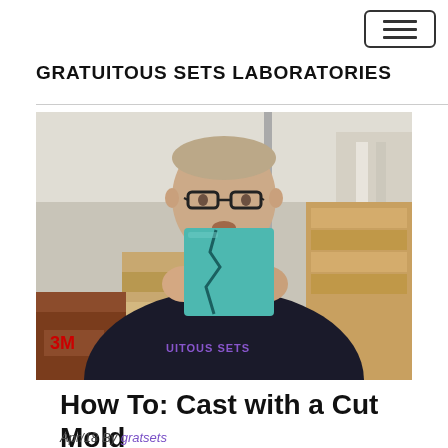GRATUITOUS SETS LABORATORIES
[Figure (photo): A man wearing glasses and a dark t-shirt with 'GRATUITOUS SETS' text holds up a teal/blue cut silicone mold in a workshop/studio setting. The 3M logo is visible in the lower left.]
How To: Cast with a Cut Mold
Apr/18 By gratsets